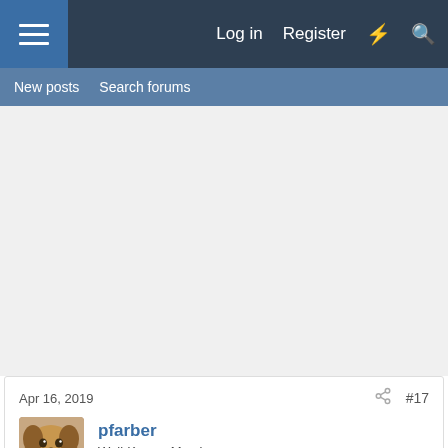Log in  Register
New posts  Search forums
Apr 16, 2019   #17
pfarber
Well-Known Member
wnimps1 said: